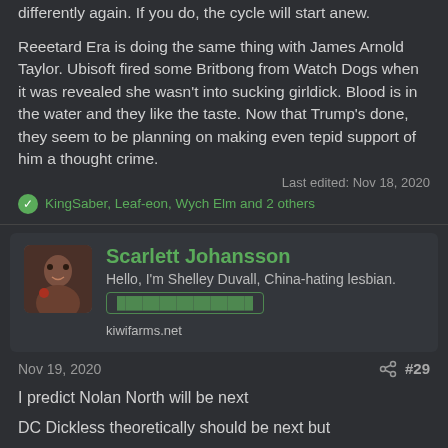differently again. If you do, the cycle will start anew.
Reeetard Era is doing the same thing with James Arnold Taylor. Ubisoft fired some Britbong from Watch Dogs when it was revealed she wasn't into sucking girldick. Blood is in the water and they like the taste. Now that Trump's done, they seem to be planning on making even tepid support of him a thought crime.
Last edited: Nov 18, 2020
KingSaber, Leaf-eon, Wych Elm and 2 others
Scarlett Johansson
Hello, I'm Shelley Duvall, China-hating lesbian.
kiwifarms.net
Nov 19, 2020
#29
I predict Nolan North will be next
DC Dickless theoretically should be next but